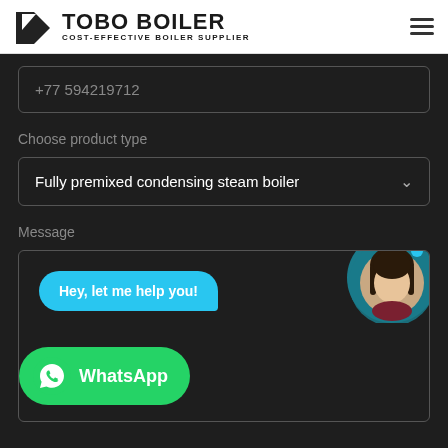[Figure (logo): Tobo Boiler logo with icon and text: TOBO BOILER, COST-EFFECTIVE BOILER SUPPLIER]
+77 594219712
Choose product type
Fully premixed condensing steam boiler
Message
[Figure (screenshot): Chat bubble saying Hey, let me help you! with female avatar and WhatsApp button overlay]